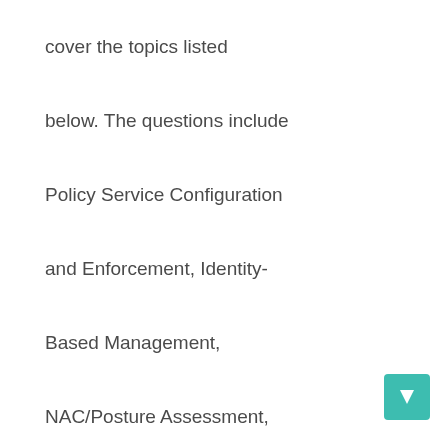cover the topics listed below. The questions include Policy Service Configuration and Enforcement, Identity-Based Management, NAC/Posture Assessment, Secure guest access with user self-registration, captive portal pages, troubleshooting and administration.